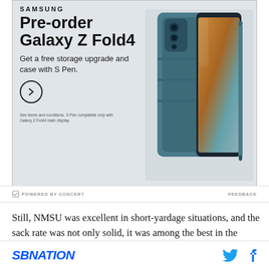[Figure (photo): Samsung advertisement for Galaxy Z Fold4. Shows the text 'SAMSUNG', 'Pre-order Galaxy Z Fold4', 'Get a free storage upgrade and case with S Pen.' with a circular arrow button, fine print disclaimer, and a product image of the teal Galaxy Z Fold4 phone with case and S Pen on a light grey background.]
⊟ POWERED BY CONCERT    FEEDBACK
Still, NMSU was excellent in short-yardage situations, and the sack rate was not only solid, it was among the best in the country. The line had at least something to
SBNATION [Twitter icon] [Facebook icon]